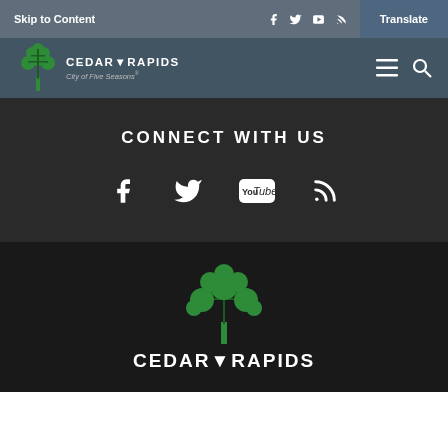Skip to Content | Social icons | Translate
[Figure (logo): Cedar Rapids City of Five Seasons logo with green tree icon]
CONNECT WITH US
[Figure (infographic): Social media icons: Facebook, Twitter, YouTube, RSS]
[Figure (logo): Cedar Rapids City logo large version in footer - green tree with white text CEDAR RAPIDS]